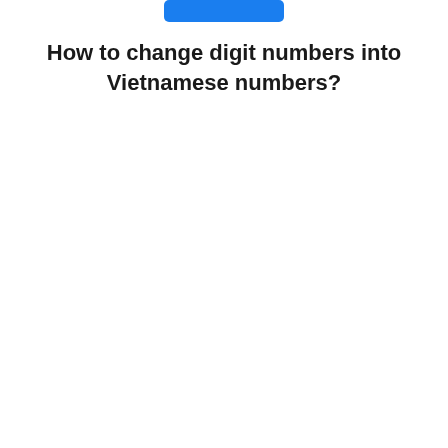[Figure (other): Blue rounded rectangle button at the top center of the page]
How to change digit numbers into Vietnamese numbers?